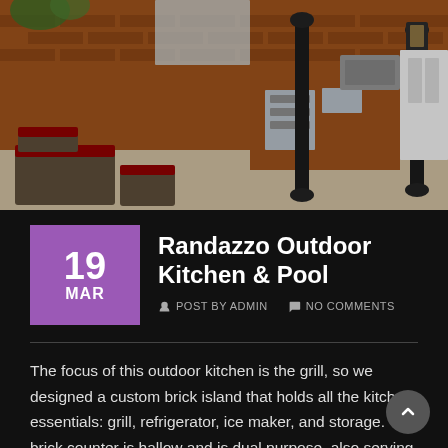[Figure (photo): Outdoor kitchen with brick island, stainless steel appliances, grill, black iron columns, and red cushioned wicker furniture on a concrete patio]
Randazzo Outdoor Kitchen & Pool
19 MAR  POST BY ADMIN  NO COMMENTS
The focus of this outdoor kitchen is the grill, so we designed a custom brick island that holds all the kitchen essentials: grill, refrigerator, ice maker, and storage. The brick counter is hallow and is dual purpose, also serving as a storage area for the homeowner's additional grill equipment; see detailed image above. Black iron columns give the space a New Orleans feel while providing a unique architectural element. The materials we selected to use throughout the outdoor